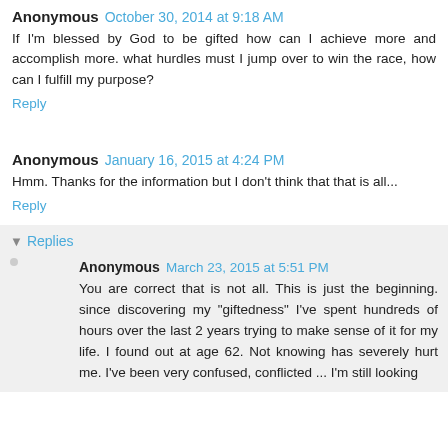Anonymous October 30, 2014 at 9:18 AM
If I'm blessed by God to be gifted how can I achieve more and accomplish more. what hurdles must I jump over to win the race, how can I fulfill my purpose?
Reply
Anonymous January 16, 2015 at 4:24 PM
Hmm. Thanks for the information but I don't think that that is all...
Reply
Replies
Anonymous March 23, 2015 at 5:51 PM
You are correct that is not all. This is just the beginning. since discovering my "giftedness" I've spent hundreds of hours over the last 2 years trying to make sense of it for my life. I found out at age 62. Not knowing has severely hurt me. I've been very confused, conflicted ... I'm still looking